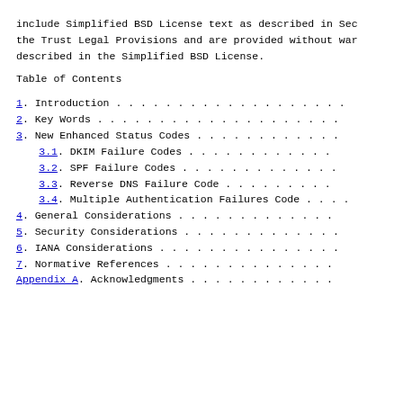include Simplified BSD License text as described in Sec the Trust Legal Provisions and are provided without war described in the Simplified BSD License.
Table of Contents
1.  Introduction . . . . . . . . . . . . . . . . . .
2.  Key Words . . . . . . . . . . . . . . . . . . .
3.  New Enhanced Status Codes . . . . . . . . . . .
3.1.  DKIM Failure Codes . . . . . . . . . . . .
3.2.  SPF Failure Codes . . . . . . . . . . . . .
3.3.  Reverse DNS Failure Code . . . . . . . . .
3.4.  Multiple Authentication Failures Code . . .
4.  General Considerations . . . . . . . . . . . .
5.  Security Considerations . . . . . . . . . . . .
6.  IANA Considerations . . . . . . . . . . . . . .
7.  Normative References . . . . . . . . . . . . .
Appendix A.  Acknowledgments . . . . . . . . . . .